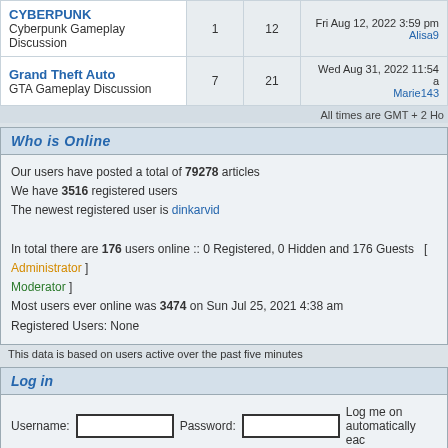| Forum | Posts | Topics | Last Post |
| --- | --- | --- | --- |
| CYBERPUNK
Cyberpunk Gameplay Discussion | 1 | 12 | Fri Aug 12, 2022 3:59 pm
Alisa9 |
| Grand Theft Auto
GTA Gameplay Discussion | 7 | 21 | Wed Aug 31, 2022 11:54 a
Marie143 |
All times are GMT + 2 Ho
Who is Online
Our users have posted a total of 79278 articles
We have 3516 registered users
The newest registered user is dinkarvid

In total there are 176 users online :: 0 Registered, 0 Hidden and 176 Guests  [ Administrator ] Moderator ]
Most users ever online was 3474 on Sun Jul 25, 2021 4:38 am
Registered Users: None
This data is based on users active over the past five minutes
Log in
Username: [  ]  Password: [  ]  Log me on automatically eac
visit [ ] Log in
New posts    No new posts    Forum is locked
Powered by phpBB © 2001, 2666 phpBB Group